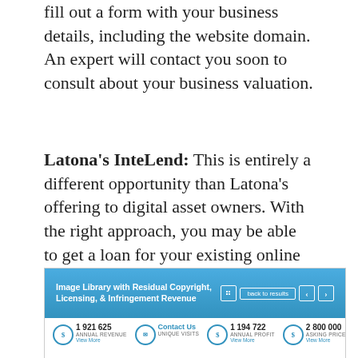fill out a form with your business details, including the website domain. An expert will contact you soon to consult about your business valuation.
Latona’s InteLend: This is entirely a different opportunity than Latona’s offering to digital asset owners. With the right approach, you may be able to get a loan for your existing online business.
[Figure (screenshot): Screenshot of a Latona business listing page showing 'Image Library with Residual Copyright, Licensing, & Infringement Revenue' with stats: Annual Revenue 1 921 625, Unique Visits (Contact Us), Annual Profit 1 194 722, Asking Price 2 800 000, Description section, and Contact Broker panel with photo.]